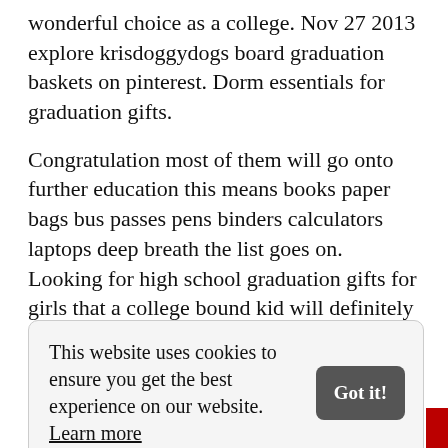wonderful choice as a college. Nov 27 2013 explore krisdoggydogs board graduation baskets on pinterest. Dorm essentials for graduation gifts.
Congratulation most of them will go onto further education this means books paper bags bus passes pens binders calculators laptops deep breath the list goes on. Looking for high school graduation gifts for girls that a college bound kid will definitely use this fall. See more ideas about graduation gifts graduation and grad gifts.
Mar 17 2020 gift card ideas for graduates of all
This website uses cookies to ensure you get the best experience on our website. Learn more
maintain our.